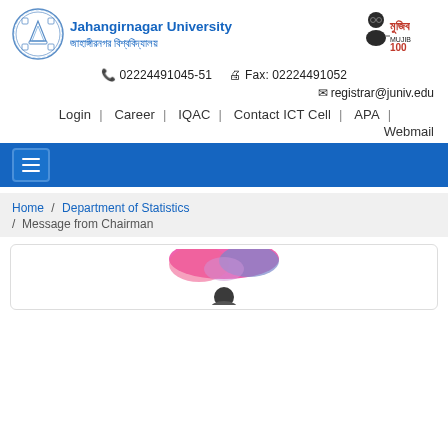[Figure (logo): Jahangirnagar University circular logo on the left and Mujib 100 logo on the right]
Jahangirnagar University / জাহাঙ্গীরনগর বিশ্ববিদ্যালয়
📞 02224491045-51   🖨 Fax: 02224491052
✉ registrar@juniv.edu
Login | Career | IQAC | Contact ICT Cell | APA | Webmail
[Figure (screenshot): Blue navigation bar with hamburger menu icon]
Home / Department of Statistics / Message from Chairman
[Figure (photo): Partial image of a person, presumably the Chairman, visible at bottom of page]